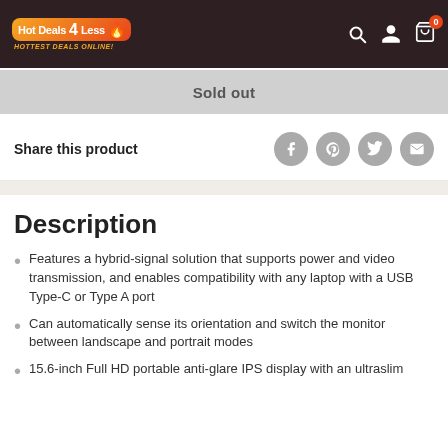[Figure (logo): Hot Deals 4 Less logo with flame icon and tagline HOTTEST DEALS ONLINE!]
Sold out
Share this product
[Figure (infographic): Social share icons: Facebook, Pinterest, Twitter, Email]
Description
Features a hybrid-signal solution that supports power and video transmission, and enables compatibility with any laptop with a USB Type-C or Type A port
Can automatically sense its orientation and switch the monitor between landscape and portrait modes
15.6-inch Full HD portable anti-glare IPS display with an ultraslim